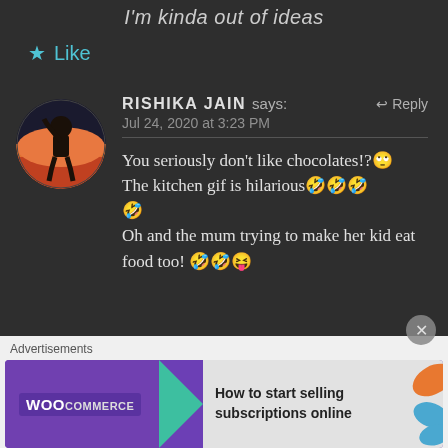I'm kinda out of ideas
★ Like
[Figure (photo): Round avatar of a person silhouette against sunset sky]
RISHIKA JAIN says: ↩ Reply
Jul 24, 2020 at 3:23 PM
You seriously don't like chocolates!?🙄
The kitchen gif is hilarious🤣🤣🤣🤣
Oh and the mum trying to make her kid eat food too! 🤣🤣😝
Advertisements
[Figure (screenshot): WooCommerce advertisement banner: How to start selling subscriptions online]